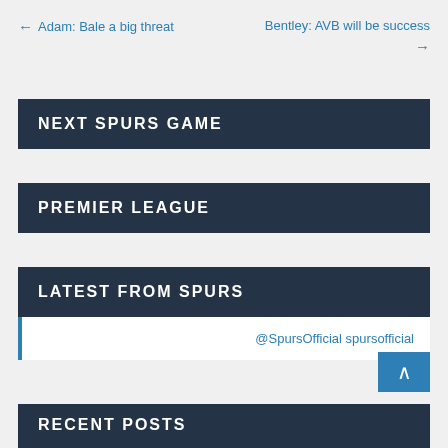← Adam: Bale a big threat
Bentley: AVB will be success →
NEXT SPURS GAME
PREMIER LEAGUE
LATEST FROM SPURS
@SpursOfficial spursofficial
RECENT POSTS